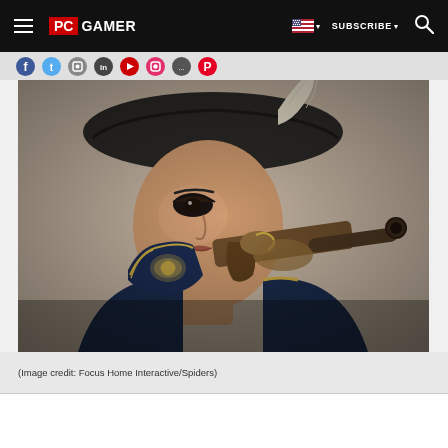PC GAMER | SUBSCRIBE | Search
[Figure (screenshot): PC Gamer website header navigation bar with hamburger menu, PC Gamer logo, US flag dropdown, SUBSCRIBE button, and search icon on black background]
[Figure (photo): Game screenshot showing a female character wearing a black tricorn hat with a feather, holding a flintlock pistol and a decorated book/shield, from a video game published by Focus Home Interactive/Spiders]
(Image credit: Focus Home Interactive/Spiders)